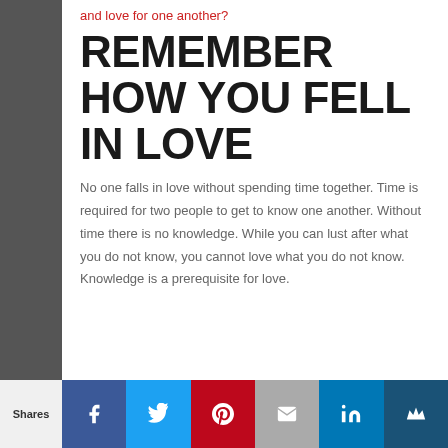and love for one another?
REMEMBER HOW YOU FELL IN LOVE
No one falls in love without spending time together. Time is required for two people to get to know one another. Without time there is no knowledge. While you can lust after what you do not know, you cannot love what you do not know. Knowledge is a prerequisite for love.